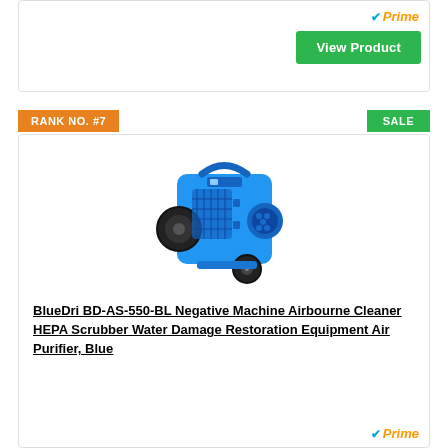[Figure (other): Top card section with Amazon Prime badge and View Product green button]
RANK NO. #7
SALE
[Figure (photo): BlueDri BD-AS-550-BL blue air scrubber/negative air machine with HEPA filter and wheel]
BlueDri BD-AS-550-BL Negative Machine Airbourne Cleaner HEPA Scrubber Water Damage Restoration Equipment Air Purifier, Blue
[Figure (logo): Amazon Prime logo at bottom right]